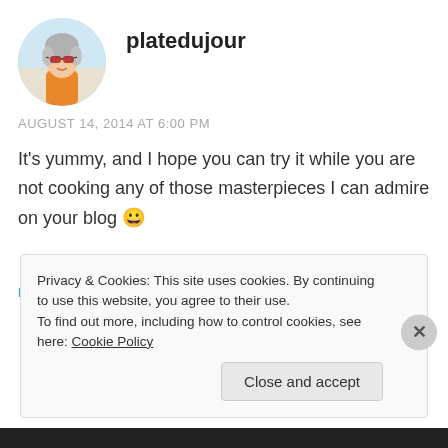[Figure (illustration): Circular avatar image of a cartoon/anime-style character with gray hair, sunglasses, and an orange outfit]
platedujour
AUGUST 14, 2014 AT 6:00 PM
It's yummy, and I hope you can try it while you are not cooking any of those masterpieces I can admire on your blog 😀
★ Like
REPLY
Privacy & Cookies: This site uses cookies. By continuing to use this website, you agree to their use.
To find out more, including how to control cookies, see here: Cookie Policy
Close and accept